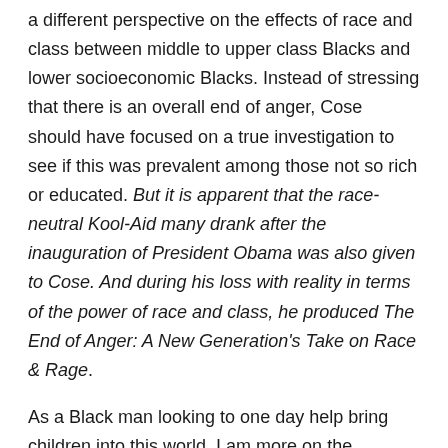a different perspective on the effects of race and class between middle to upper class Blacks and lower socioeconomic Blacks. Instead of stressing that there is an overall end of anger, Cose should have focused on a true investigation to see if this was prevalent among those not so rich or educated. But it is apparent that the race-neutral Kool-Aid many drank after the inauguration of President Obama was also given to Cose. And during his loss with reality in terms of the power of race and class, he produced The End of Anger: A New Generation's Take on Race & Rage.
As a Black man looking to one day help bring children into this world, I am more on the cautious side in regards to the status of race. While working in the academy or public education, I bear witness to the power and fortitude of racism and oppression. I wish I could identify with the vision of the country that Cose feels is coming. I truly do. But the evidence that engulfs me everyday tells me otherwise.